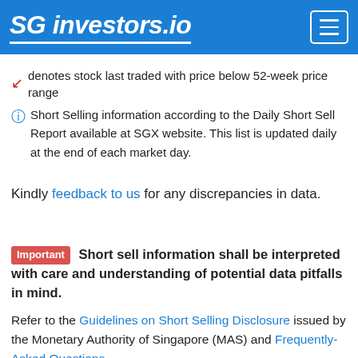SG investors.io
denotes stock last traded with price below 52-week price range
Short Selling information according to the Daily Short Sell Report available at SGX website. This list is updated daily at the end of each market day.
Kindly feedback to us for any discrepancies in data.
Important: Short sell information shall be interpreted with care and understanding of potential data pitfalls in mind.
Refer to the Guidelines on Short Selling Disclosure issued by the Monetary Authority of Singapore (MAS) and Frequently-Asked Questions